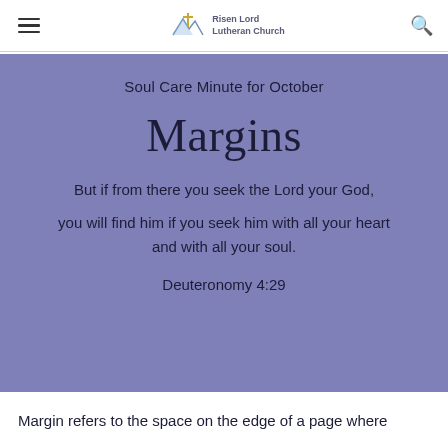Risen Lord Lutheran Church
Soul Care Minute for October
Margins
But if from there you seek the Lord your God, you will find him if you seek him with all your heart and with all your soul.
Deuteronomy 4:29
Margin refers to the space on the edge of a page where